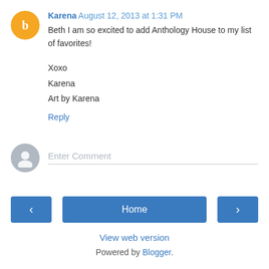Karena August 12, 2013 at 1:31 PM
Beth I am so excited to add Anthology House to my list of favorites!

Xoxo
Karena
Art by Karena
Reply
Enter Comment
Home
View web version
Powered by Blogger.